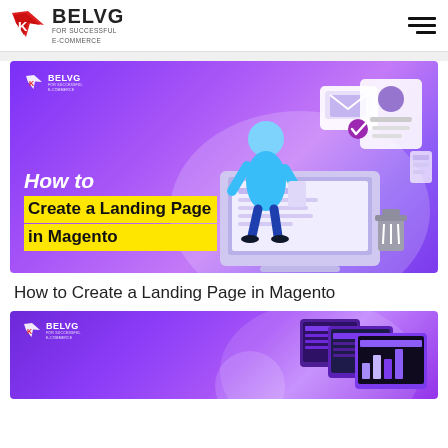BELVG FOR SUCCESSFUL E-COMMERCE
[Figure (illustration): BelVG branded banner with purple gradient background, figure of a person using a laptop, decorative UI elements, logo top-left, text overlay reading 'How to Create a Landing Page in Magento' with yellow highlight]
How to Create a Landing Page in Magento
[Figure (illustration): Second BelVG branded banner with purple gradient background, logo top-left, monitors/screens on right side, partially visible]